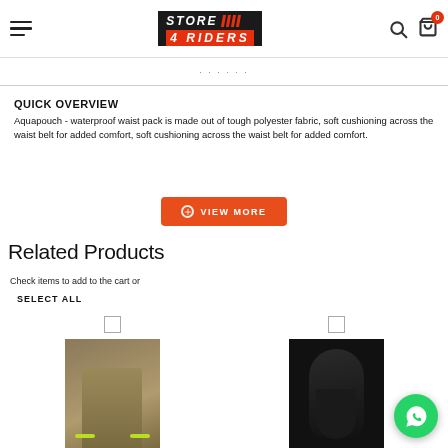STORE 4 RIDERS — navigation header with hamburger, logo, search, and cart (0 items)
QUICK OVERVIEW
Aquapouch - waterproof waist pack is made out of tough polyester fabric, soft cushioning across the waist belt for added comfort, soft cushioning across the waist belt for added comfort.
VIEW MORE
Related Products
Check items to add to the cart or SELECT ALL
[Figure (photo): Two product photos partially visible at bottom: left shows olive/khaki jacket with yellow-green stripe details, right shows dark sleeve/arm protective gear on black background.]